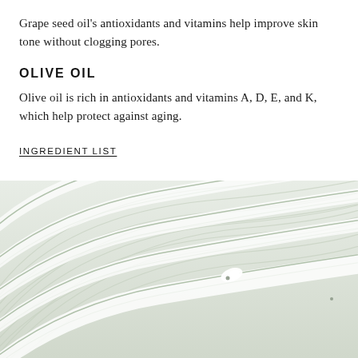Grape seed oil's antioxidants and vitamins help improve skin tone without clogging pores.
OLIVE OIL
Olive oil is rich in antioxidants and vitamins A, D, E, and K, which help protect against aging.
INGREDIENT LIST
[Figure (photo): Close-up photo of swirled cream or lotion with green tinted stripes, creating a curved ribbon-like pattern on a white background.]